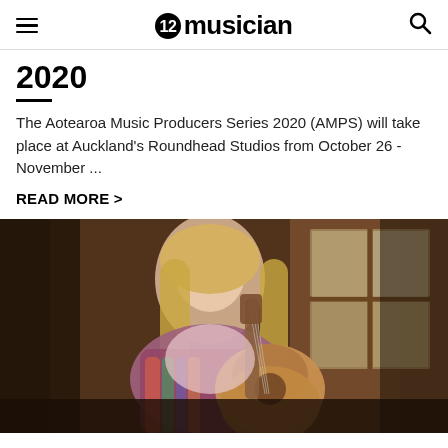NZ Musician
2020
The Aotearoa Music Producers Series 2020 (AMPS) will take place at Auckland's Roundhead Studios from October 26 - November ...
READ MORE >
[Figure (photo): A young blonde woman sitting and holding an acoustic guitar, wearing a colourful shawl, with wooden cabin walls and a glass-paned wooden door in the background.]